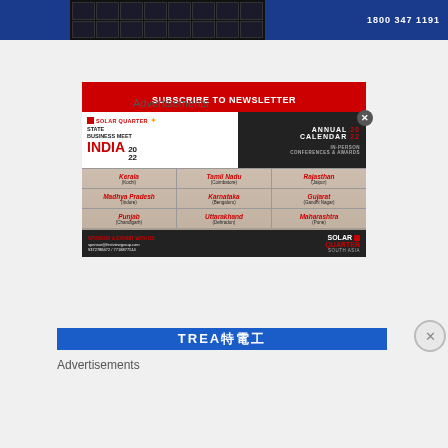[Figure (photo): Solar panel advertisement image at top with blue bar and dark solar panel graphic]
Advertisements
[Figure (infographic): Solar Quarter State Business Meet INDIA 2022 Annual Calendar advertisement with city grid showing Kerala (Kochi), Tamil Nadu (Coimbatore), Rajasthan (Jaipur), Madhya Pradesh (Indore), Karnataka (Bengaluru), Gujarat (Gandhi Nagar), Punjab (Chandigarh), Uttarakhand (Dehradun), Maharashtra (Pune). Sponsor contact: sponsor@firstviewgroup.com, 9372788472/7718877514]
[Figure (logo): TREA logo banner in blue]
Advertisements